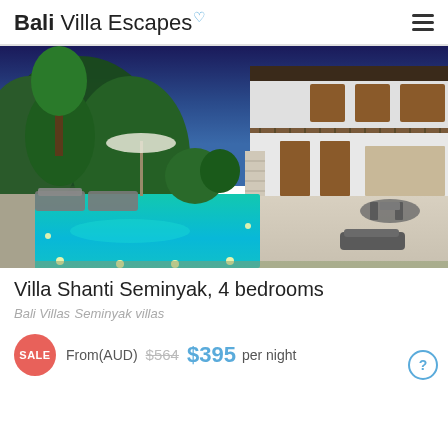Bali Villa Escapes
[Figure (photo): Nighttime photo of Villa Shanti Seminyak showing a large illuminated swimming pool in the foreground with sunloungers, lush tropical garden with lighting, and a two-storey white villa with wooden balcony and outdoor dining area in the background under a deep blue evening sky.]
Villa Shanti Seminyak, 4 bedrooms
Bali Villas Seminyak villas
SALE From(AUD) $564 $395 per night